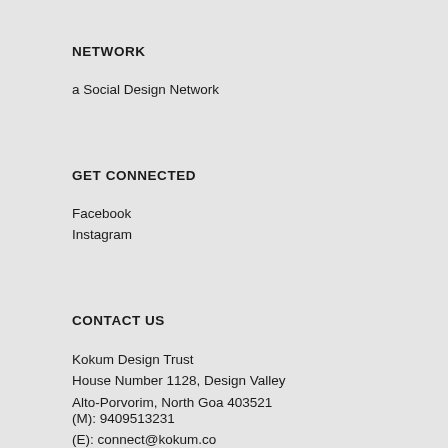NETWORK
a Social Design Network
GET CONNECTED
Facebook
Instagram
CONTACT US
Kokum Design Trust
House Number 1128, Design Valley
Alto-Porvorim, North Goa 403521
(M): 9409513231
(E): connect@kokum.co